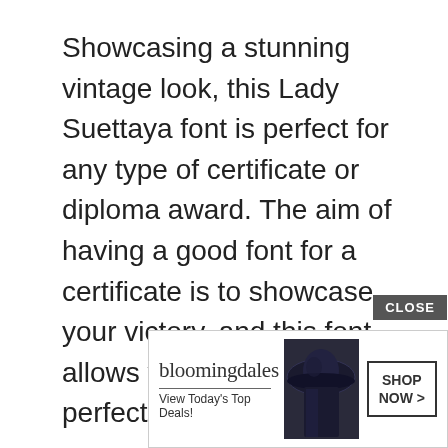Showcasing a stunning vintage look, this Lady Suettaya font is perfect for any type of certificate or diploma award. The aim of having a good font for a certificate is to showcase your victory, and this font allows you to do that perfectly.
As well as certificate and diploma use, you can use a font as versatile as this on logos, posters, flyers, or any other necessary designs. With this package, you pay for qua[lity...]
[Figure (screenshot): Bloomingdale's advertisement banner with logo, 'View Today's Top Deals!' tagline, woman with hat image, CLOSE button, and SHOP NOW > button]